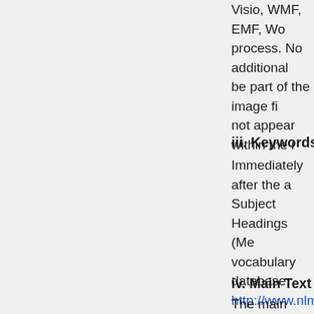Visio, WMF, EMF, Wo... process. No additional... be part of the image fi... not appear within the i...
iii. Keywords
Immediately after the a... Subject Headings (Me... vocabulary database. http://www.nlm.nih.go... style and written in low... These keywords will b...
iv. Main Text (Introdu...
The main body of a ma... Discussion (including C... Figures Legends/Figur...
Introduction
The Introduction shou... and why the objectives...